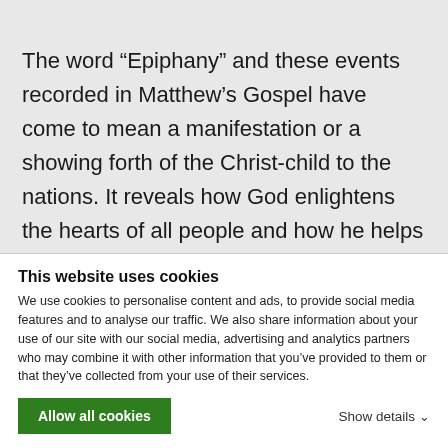The word “Epiphany” and these events recorded in Matthew’s Gospel have come to mean a manifestation or a showing forth of the Christ-child to the nations. It reveals how God enlightens the hearts of all people and how he helps them to discover his revelation, to search out this Truth and to be faithful to it. The journey of the wise men begins as a search for Truth through the simple
This website uses cookies
We use cookies to personalise content and ads, to provide social media features and to analyse our traffic. We also share information about your use of our site with our social media, advertising and analytics partners who may combine it with other information that you’ve provided to them or that they’ve collected from your use of their services.